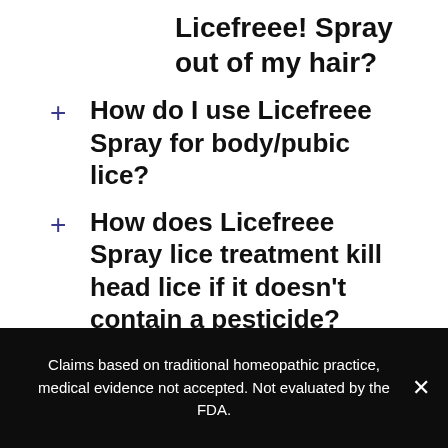Licefreee! Spray out of my hair?
How do I use Licefreee Spray for body/pubic lice?
How does Licefreee Spray lice treatment kill head lice if it doesn't contain a pesticide?
How long after using the spray can I go swimming?
Claims based on traditional homeopathic practice, medical evidence not accepted. Not evaluated by the FDA.